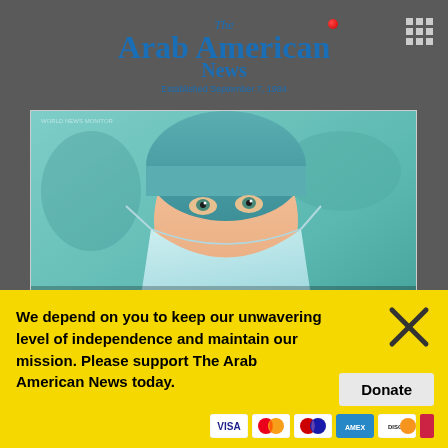The Arab American News — Established September 7, 1984
[Figure (photo): Advertisement for Garden City Hospital (gch.org). Shows a healthcare worker (nurse/surgeon) wearing teal surgical scrubs, cap, and face mask. Text overlay on image: 'Dedicated to your health'. Below image: 'All surgical and outpatient services now open'. Bottom of ad: 'Learn more at gch.org' and 'Watson Health 100 TOP HOSPITALS 2019' badge.]
We depend on you to keep our unwavering level of independence and maintain our mission. Please support The Arab American News today.